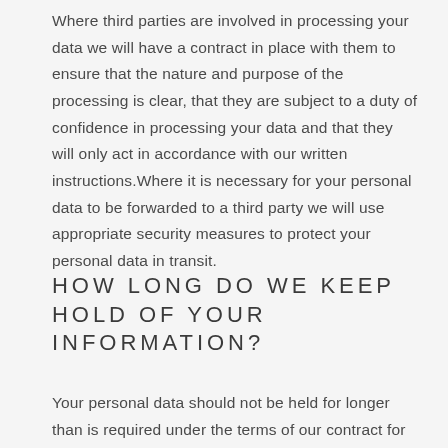services. Where third parties are involved in processing your data we will have a contract in place with them to ensure that the nature and purpose of the processing is clear, that they are subject to a duty of confidence in processing your data and that they will only act in accordance with our written instructions.Where it is necessary for your personal data to be forwarded to a third party we will use appropriate security measures to protect your personal data in transit.
HOW LONG DO WE KEEP HOLD OF YOUR INFORMATION?
Your personal data should not be held for longer than is required under the terms of our contract for services with